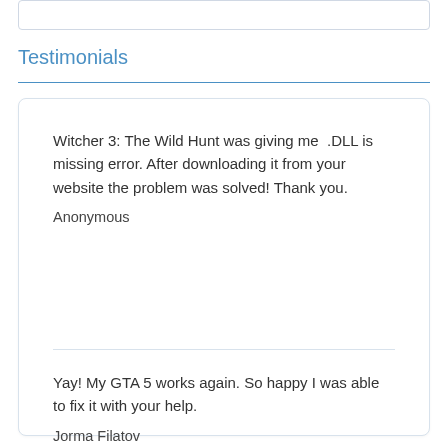Testimonials
Witcher 3: The Wild Hunt was giving me .DLL is missing error. After downloading it from your website the problem was solved! Thank you.

Anonymous
Yay! My GTA 5 works again. So happy I was able to fix it with your help.

Jorma Filatov